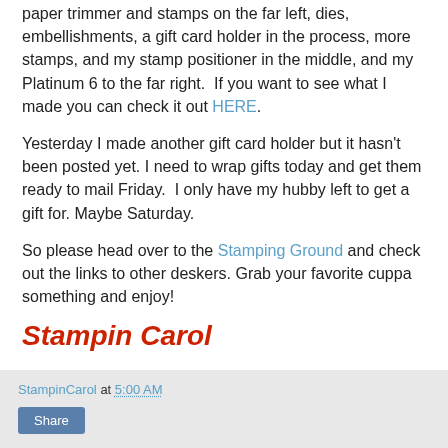paper trimmer and stamps on the far left, dies, embellishments, a gift card holder in the process, more stamps, and my stamp positioner in the middle, and my Platinum 6 to the far right.  If you want to see what I made you can check it out HERE.
Yesterday I made another gift card holder but it hasn't been posted yet. I need to wrap gifts today and get them ready to mail Friday.  I only have my hubby left to get a gift for. Maybe Saturday.
So please head over to the Stamping Ground and check out the links to other deskers. Grab your favorite cuppa something and enjoy!
Stampin Carol
StampinCarol at 5:00 AM  Share